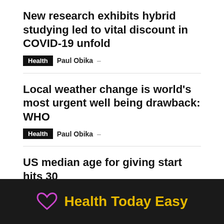New research exhibits hybrid studying led to vital discount in COVID-19 unfold
Health   Paul Obika –
Local weather change is world's most urgent well being drawback: WHO
Health   Paul Obika –
US median age for giving start hits 30
Health   Paul Obika –
Load more
Health Today Easy